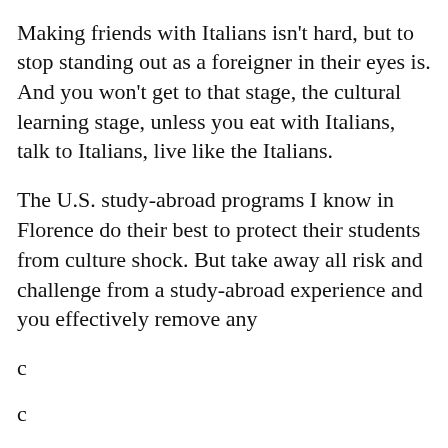Making friends with Italians isn't hard, but to stop standing out as a foreigner in their eyes is. And you won't get to that stage, the cultural learning stage, unless you eat with Italians, talk to Italians, live like the Italians.
The U.S. study-abroad programs I know in Florence do their best to protect their students from culture shock. But take away all risk and challenge from a study-abroad experience and you effectively remove any [partial text obscured by modal]
[Figure (screenshot): A 'Share This' modal dialog overlaying the article text. Contains title 'Share This', subtitle 'Share this post with your friends!', a Facebook button (blue), a Twitter button (light blue), and a Print Friendly button (green). A close (X) button is in the top right corner.]